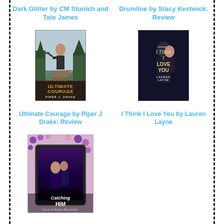Dark Glitter by CM Stunich and Tate James
Drumline by Stacy Kestwick: Review
[Figure (photo): Book cover of Ultimate Courage by Piper J Drake, showing a man with a gun and a German shepherd dog, with forest background]
[Figure (photo): Book cover of I Think I Love You by Lauren Layne, showing a couple about to kiss, dark blue background]
Ultimate Courage by Piper J Drake: Review
I Think I Love You by Lauren Layne
[Figure (photo): Photo of a tablet showing the book cover Catching Him by Aurora Rose Reynolds, surrounded by purple flowers]